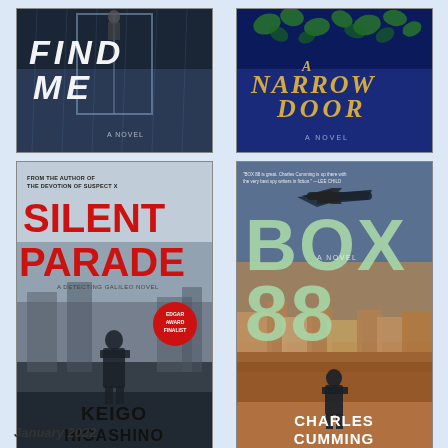[Figure (illustration): Book cover: FIND ME - A Novel, dark stormy background with white bold title text]
[Figure (illustration): Book cover: A NARROW DOOR - A Novel, dark blue background with gold italic title text and ivy leaves]
[Figure (illustration): Book cover: SILENT PARADE - A Detecting Galileo Novel by Keigo Higashino, misty urban background with red title text, Edgar Award Finalist badge]
[Figure (illustration): Book cover: BOX 88 - A Novel by Charles Cumming, cityscape with airplane, large mint-green title text]
January 2022